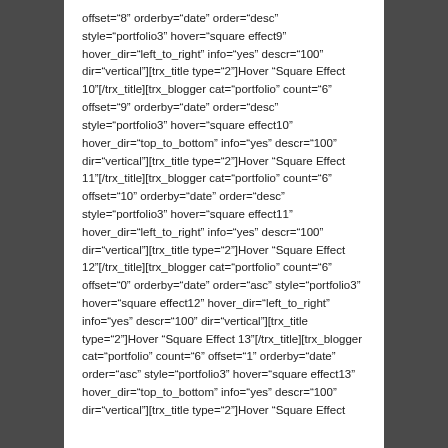offset="8" orderby="date" order="desc" style="portfolio3" hover="square effect9" hover_dir="left_to_right" info="yes" descr="100" dir="vertical"][trx_title type="2"]Hover "Square Effect 10"[/trx_title][trx_blogger cat="portfolio" count="6" offset="9" orderby="date" order="desc" style="portfolio3" hover="square effect10" hover_dir="top_to_bottom" info="yes" descr="100" dir="vertical"][trx_title type="2"]Hover "Square Effect 11"[/trx_title][trx_blogger cat="portfolio" count="6" offset="10" orderby="date" order="desc" style="portfolio3" hover="square effect11" hover_dir="left_to_right" info="yes" descr="100" dir="vertical"][trx_title type="2"]Hover "Square Effect 12"[/trx_title][trx_blogger cat="portfolio" count="6" offset="0" orderby="date" order="asc" style="portfolio3" hover="square effect12" hover_dir="left_to_right" info="yes" descr="100" dir="vertical"][trx_title type="2"]Hover "Square Effect 13"[/trx_title][trx_blogger cat="portfolio" count="6" offset="1" orderby="date" order="asc" style="portfolio3" hover="square effect13" hover_dir="top_to_bottom" info="yes" descr="100" dir="vertical"][trx_title type="2"]Hover "Square Effect